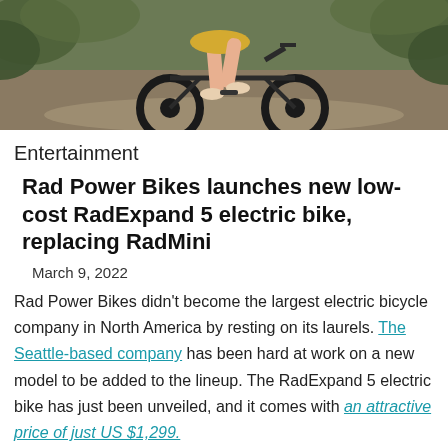[Figure (photo): Person riding a folding electric bike on a dirt path outdoors, view from waist down, wearing yellow skirt and sneakers, bike has fat tires, green foliage in background.]
Entertainment
Rad Power Bikes launches new low-cost RadExpand 5 electric bike, replacing RadMini
March 9, 2022
Rad Power Bikes didn't become the largest electric bicycle company in North America by resting on its laurels. The Seattle-based company has been hard at work on a new model to be added to the lineup. The RadExpand 5 electric bike has just been unveiled, and it comes with an attractive price of just US $1,299.